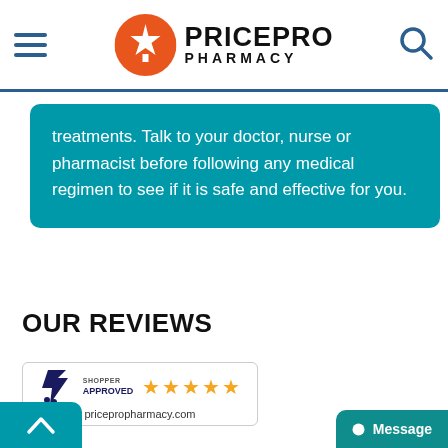[Figure (logo): PricePro Pharmacy logo with orange maple leaf circle and bold text]
treatments. Talk to your doctor, nurse or pharmacist before following any medical regimen to see if it is safe and effective for you.
OUR REVIEWS
[Figure (other): Shopper Approved badge with 5 orange stars and text pricepropharmacy.com]